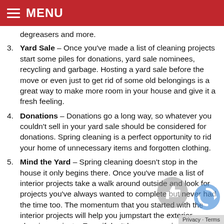MENU
degreasers and more.
Yard Sale – Once you've made a list of cleaning projects start some piles for donations, yard sale nominees, recycling and garbage. Hosting a yard sale before the move or even just to get rid of some old belongings is a great way to make more room in your house and give it a fresh feeling.
Donations – Donations go a long way, so whatever you couldn't sell in your yard sale should be considered for donations. Spring cleaning is a perfect opportunity to rid your home of unnecessary items and forgotten clothing.
Mind the Yard – Spring cleaning doesn't stop in the house it only begins there. Once you've made a list of interior projects take a walk around outside and look for projects you've always wanted to complete but never had the time too. The momentum that you started with the interior projects will help you jumpstart the exterior cleaning projects. Even if don't have any major projects, after a few dry days you